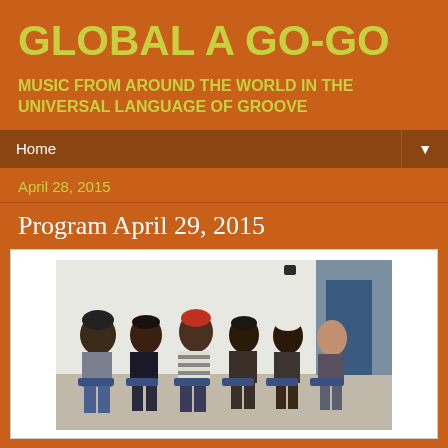GLOBAL A GO-GO
MUSIC FROM AROUND THE WORLD IN THE UNIVERSAL LANGUAGE OF GROOVE
Home
April 28, 2015
Program April 29, 2015
[Figure (photo): Six men seated in a row on chairs in what appears to be a classroom or lecture hall setting, with a whiteboard visible in the background. The group is diverse, with several wearing hats.]